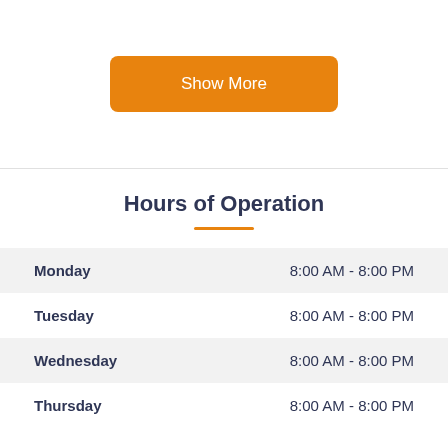[Figure (other): Orange 'Show More' button]
Hours of Operation
| Day | Hours |
| --- | --- |
| Monday | 8:00 AM - 8:00 PM |
| Tuesday | 8:00 AM - 8:00 PM |
| Wednesday | 8:00 AM - 8:00 PM |
| Thursday | 8:00 AM - 8:00 PM |